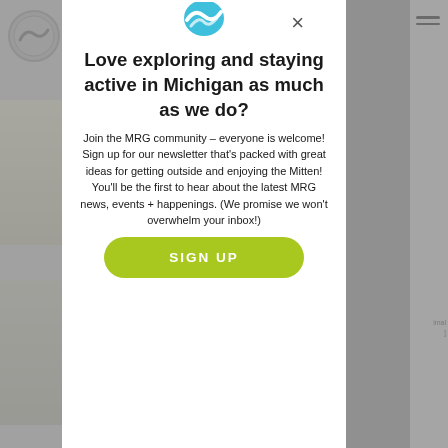[Figure (screenshot): A modal popup dialog on a website. It shows a teal/blue wave logo icon at the top, a heading asking about exploring Michigan, body text inviting users to join the MRG community newsletter, and a yellow-green 'SIGN UP' button. Behind the modal are blurred website UI elements including a logo, navigation hamburger menu, and image cards.]
Love exploring and staying active in Michigan as much as we do?
Join the MRG community – everyone is welcome! Sign up for our newsletter that's packed with great ideas for getting outside and enjoying the Mitten! You'll be the first to hear about the latest MRG news, events + happenings. (We promise we won't overwhelm your inbox!)